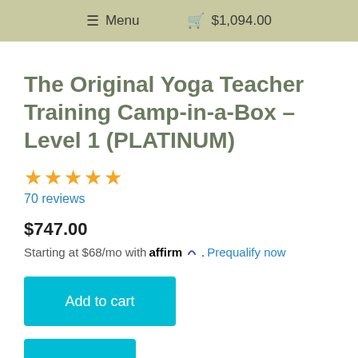Menu  $1,094.00
The Original Yoga Teacher Training Camp-in-a-Box – Level 1 (PLATINUM)
★★★★★ 70 reviews
$747.00
Starting at $68/mo with affirm. Prequalify now
Add to cart
Details